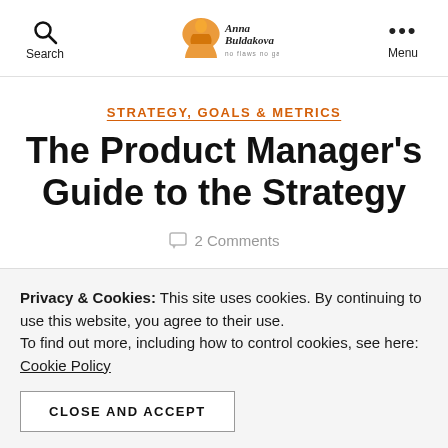Search | Anna Buldakova (no flaws no game) | Menu
STRATEGY, GOALS & METRICS
The Product Manager's Guide to the Strategy
2 Comments
Privacy & Cookies: This site uses cookies. By continuing to use this website, you agree to their use. To find out more, including how to control cookies, see here: Cookie Policy
CLOSE AND ACCEPT
wanted to make history. What is different between Steve